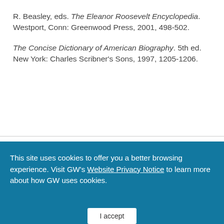R. Beasley, eds. The Eleanor Roosevelt Encyclopedia. Westport, Conn: Greenwood Press, 2001, 498-502.
The Concise Dictionary of American Biography. 5th ed. New York: Charles Scribner's Sons, 1997, 1205-1206.
This site uses cookies to offer you a better browsing experience. Visit GW's Website Privacy Notice to learn more about how GW uses cookies.